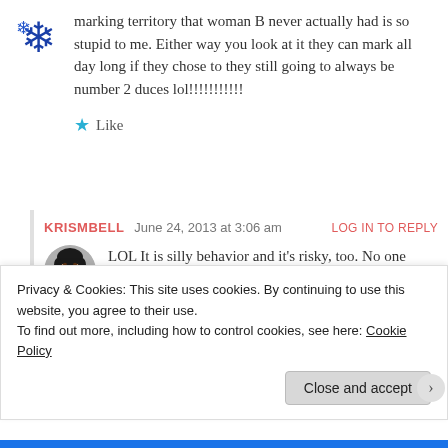marking territory that woman B never actually had is so stupid to me. Either way you look at it they can mark all day long if they chose to they still going to always be number 2 duces lol!!!!!!!!!!!
★ Like
KRISMBELL  June 24, 2013 at 3:06 am  LOG IN TO REPLY
LOL It is silly behavior and it's risky, too. No one really likes to play games,
Privacy & Cookies: This site uses cookies. By continuing to use this website, you agree to their use.
To find out more, including how to control cookies, see here: Cookie Policy
Close and accept